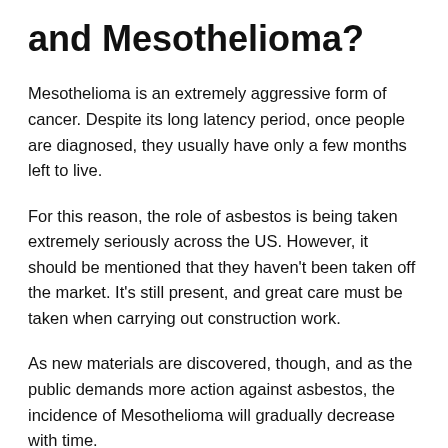and Mesothelioma?
Mesothelioma is an extremely aggressive form of cancer. Despite its long latency period, once people are diagnosed, they usually have only a few months left to live.
For this reason, the role of asbestos is being taken extremely seriously across the US. However, it should be mentioned that they haven't been taken off the market. It's still present, and great care must be taken when carrying out construction work.
As new materials are discovered, though, and as the public demands more action against asbestos, the incidence of Mesothelioma will gradually decrease with time.
To find out more about Mesothelioma, you should visit